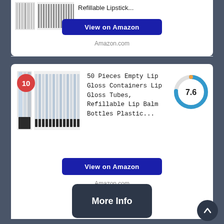Refillable Lipstick...
View on Amazon
Amazon.com
50 Pieces Empty Lip Gloss Containers Lip Gloss Tubes, Refillable Lip Balm Bottles Plastic...
[Figure (donut-chart): Score]
View on Amazon
Amazon.com
More Info